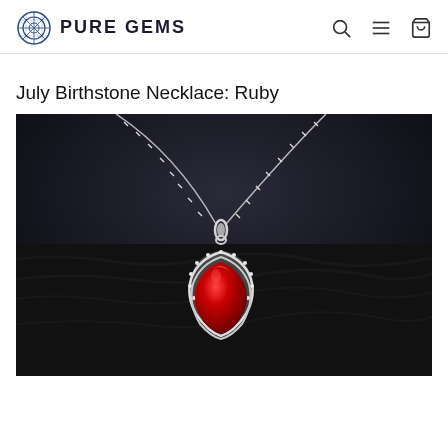PURE GEMS
July Birthstone Necklace: Ruby
[Figure (photo): Close-up photo of a ruby teardrop pendant necklace with silver chain and diamond halo setting, displayed on a dark leather/black background]